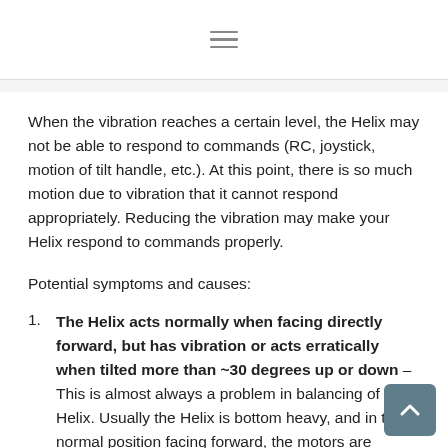≡
When the vibration reaches a certain level, the Helix may not be able to respond to commands (RC, joystick, motion of tilt handle, etc.). At this point, there is so much motion due to vibration that it cannot respond appropriately. Reducing the vibration may make your Helix respond to commands properly.
Potential symptoms and causes:
The Helix acts normally when facing directly forward, but has vibration or acts erratically when tilted more than ~30 degrees up or down – This is almost always a problem in balancing of the Helix. Usually the Helix is bottom heavy, and in the normal position facing forward, the motors are strong enough to compensate, but as the angle...